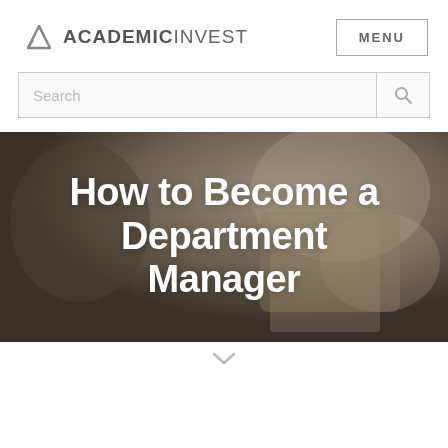ACADEMICINVEST
[Figure (logo): AcademicInvest logo with mountain/chart icon and text ACADEMICINVEST]
MENU
Search
[Figure (photo): Blurred background photo of a person writing or reading, used as hero banner background]
How to Become a Department Manager